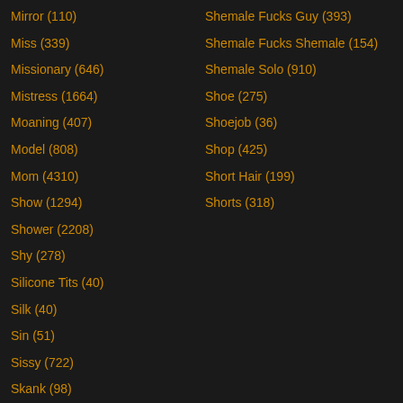Mirror (110)
Miss (339)
Missionary (646)
Mistress (1664)
Moaning (407)
Model (808)
Mom (4310)
Show (1294)
Shower (2208)
Shy (278)
Silicone Tits (40)
Silk (40)
Sin (51)
Sissy (722)
Skank (98)
Shemale Fucks Guy (393)
Shemale Fucks Shemale (154)
Shemale Solo (910)
Shoe (275)
Shoejob (36)
Shop (425)
Short Hair (199)
Shorts (318)